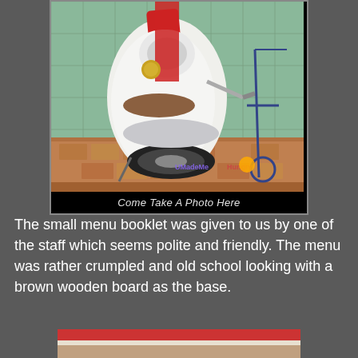[Figure (photo): A white and red vintage scooter (Lambretta-style) parked indoors against a green tiled wall, on a brick/terracotta tiled floor. Another bicycle is visible to the right. A watermark logo is visible at the bottom right of the photo. Below the photo is a black caption bar.]
Come Take A Photo Here
The small menu booklet was given to us by one of the staff which seems polite and friendly. The menu was rather crumpled and old school looking with a brown wooden board as the base.
[Figure (photo): Partial view of another photo at the bottom of the page, partially cropped.]